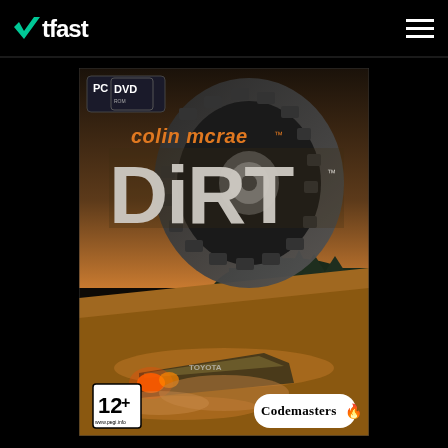WTFAST logo and hamburger menu
[Figure (photo): Colin McRae DiRT PC DVD game box cover art showing a rally car (Toyota) airborne/flipped with large tire visible, dramatic dusty off-road landscape, orange title text 'colin mcrae' and large white grunge letters 'DiRT', PC DVD logo top left, 12+ age rating bottom left, Codemasters logo bottom right]